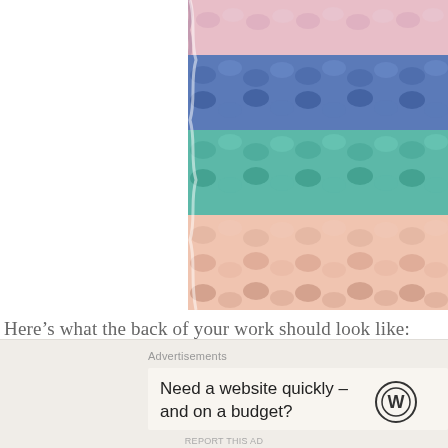[Figure (photo): Close-up photograph of crochet work showing horizontal stripes of yarn in pink, blue, teal/mint, and peach/salmon colors. The stitches are visible in detail from what appears to be the back of the work.]
Here’s what the back of your work should look like:
Advertisements
Need a website quickly – and on a budget?